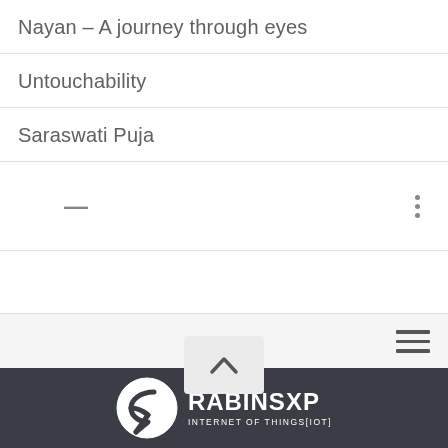Nayan – A journey through eyes
Untouchability
Saraswati Puja
[Figure (other): A row with a dash icon on the left and a vertical three-dot (more options) icon on the right, representing a collapsed or blank menu item]
[Figure (screenshot): Empty menu row area]
[Figure (other): Bottom navigation bar with hamburger menu icon on the right, scroll-to-top button in center, and RabinsXP Internet of Things (IoT) logo in dark footer]
RABINSXP INTERNET OF THINGS[IOT]